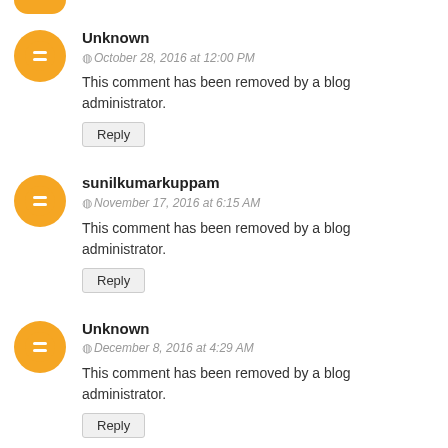[partial avatar at top]
Unknown
October 28, 2016 at 12:00 PM
This comment has been removed by a blog administrator.
Reply
sunilkumarkuppam
November 17, 2016 at 6:15 AM
This comment has been removed by a blog administrator.
Reply
Unknown
December 8, 2016 at 4:29 AM
This comment has been removed by a blog administrator.
Reply